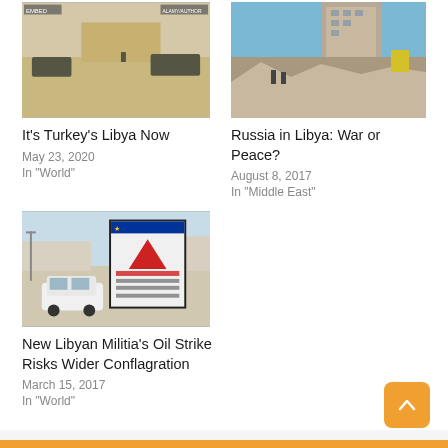[Figure (photo): Desert landscape with military vehicles and sand structures]
It's Turkey's Libya Now
May 23, 2020
In "World"
[Figure (photo): Destroyed urban building with rubble in foreground, blue sky background]
Russia in Libya: War or Peace?
August 8, 2017
In "Middle East"
[Figure (photo): Street scene with white car and billboard sign in Arabic]
New Libyan Militia's Oil Strike Risks Wider Conflagration
March 15, 2017
In "World"